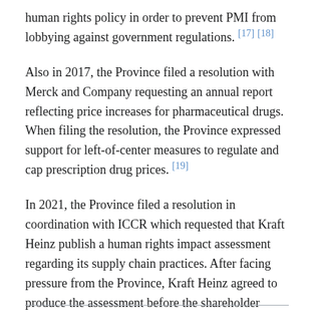human rights policy in order to prevent PMI from lobbying against government regulations. [17] [18]
Also in 2017, the Province filed a resolution with Merck and Company requesting an annual report reflecting price increases for pharmaceutical drugs. When filing the resolution, the Province expressed support for left-of-center measures to regulate and cap prescription drug prices. [19]
In 2021, the Province filed a resolution in coordination with ICCR which requested that Kraft Heinz publish a human rights impact assessment regarding its supply chain practices. After facing pressure from the Province, Kraft Heinz agreed to produce the assessment before the shareholder resolution was put to a vote. [20] The Province had previously clashed with Kraft Heinz in 2015 when it filed a resolution which requested that the company publish an annual ESG report. [21]